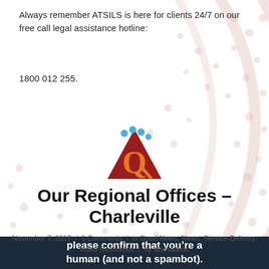Always remember ATSILS is here for clients 24/7 on our free call legal assistance hotline:
1800 012 255.
[Figure (logo): ATSILS Queensland logo — red triangle with letter Q and blue dots on top]
Our Regional Offices – Charleville
November 7, 2017 / 0 Comments / in Good News, News, Service Delivery, Video Resources / by atsilsadmin
please confirm that you're a human (and not a spambot).